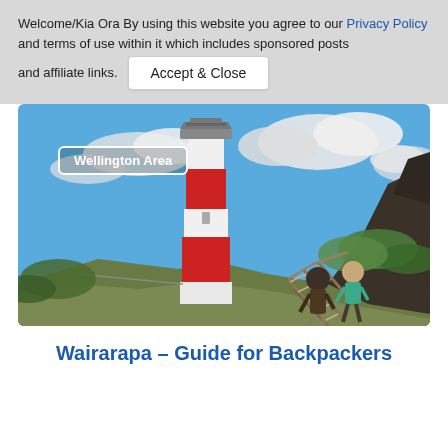Welcome/Kia Ora By using this website you agree to our Privacy Policy and terms of use within it which includes sponsored posts and affiliate links. [Accept & Close button]
[Figure (photo): Photo of a red and white lighthouse (Cape Palliser Lighthouse) against a blue cloudy sky, with two people climbing wooden stairs on a hillside in the foreground. A label overlay reads 'Wellington Area'.]
Wairarapa – Guide for Backpackers